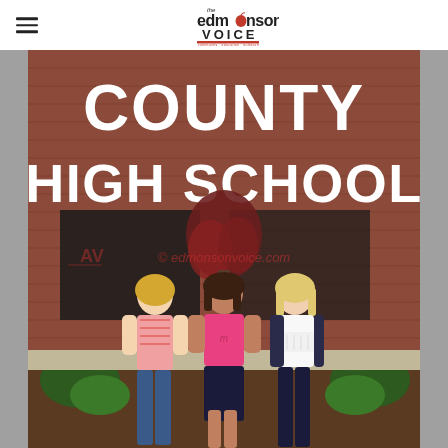The Edmonson Voice
[Figure (photo): Three young women standing in front of a brick building with large white letters reading 'COUNTY HIGH SCHOOL'. A watermark reads '© edmonsonvoice.com'. The woman on the left wears a pink striped shirt and jeans, the woman in the center wears a pink t-shirt and dark skirt, and the woman on the right wears a white top and dark pants.]